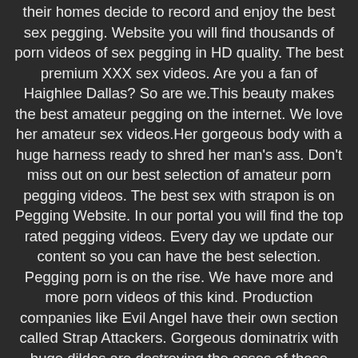their homes decide to record and enjoy the best sex pegging. Website you will find thousands of porn videos of sex pegging in HD quality. The best premium XXX sex videos. Are you a fan of Haighlee Dallas? So are we.This beauty makes the best amateur pegging on the internet. We love her amateur sex videos.Her gorgeous body with a huge harness ready to shred her man's ass. Don't miss out on our best selection of amateur porn pegging videos. The best sex with strapon is on Pegging Website. In our portal you will find the top rated pegging videos. Every day we update our content so you can have the best selection. Pegging porn is on the rise. We have more and more porn videos of this kind. Production companies like Evil Angel have their own section called Strap Attackers. Gorgeous dominatrix with huge dildos are destroying the asses of these unfortunate guys. Although they are not really unhappy at all, they are very lucky. There is nothing better than a woman with a huge dildo to fuck your hard ass.When the woman gets behind you and you start noticing her huge plastic dick, the level of excitement reaches its peak. Girls of all races are willing to be taped pegging their boyfriends. Would you like to be one of these lucky ones?You can follow us and register for free. It doesn't cost you anything. You will receive updates